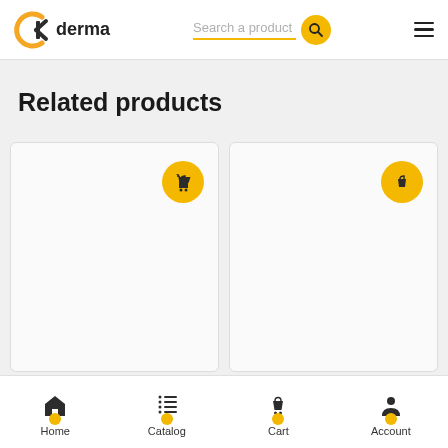[Figure (screenshot): DKderma e-commerce app header with logo, search bar, and hamburger menu]
Related products
[Figure (screenshot): Two product cards with yellow shopping cart badge icons on a light gray background]
[Figure (screenshot): Bottom navigation bar with Home, Catalog, Cart, and Account icons with yellow dot accents]